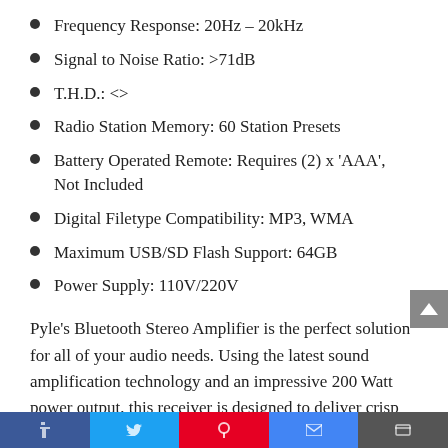Frequency Response: 20Hz – 20kHz
Signal to Noise Ratio: >71dB
T.H.D.: <>
Radio Station Memory: 60 Station Presets
Battery Operated Remote: Requires (2) x 'AAA', Not Included
Digital Filetype Compatibility: MP3, WMA
Maximum USB/SD Flash Support: 64GB
Power Supply: 110V/220V
Pyle's Bluetooth Stereo Amplifier is the perfect solution for all of your audio needs. Using the latest sound amplification technology and an impressive 200 Watt power output, this receiver is designed to deliver crisp stereo sounds from a wide range of connected music sources. Built-in Bluetooth